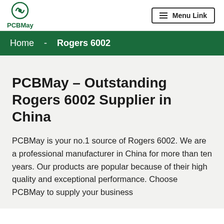PCBMay — Menu Link
Home - Rogers 6002
PCBMay – Outstanding Rogers 6002 Supplier in China
PCBMay is your no.1 source of Rogers 6002. We are a professional manufacturer in China for more than ten years. Our products are popular because of their high quality and exceptional performance. Choose PCBMay to supply your business